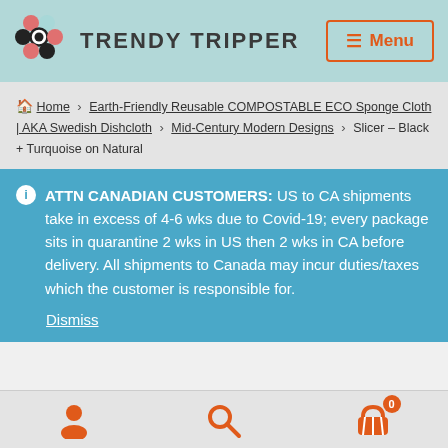TRENDY TRIPPER — Menu
Home › Earth-Friendly Reusable COMPOSTABLE ECO Sponge Cloth | AKA Swedish Dishcloth › Mid-Century Modern Designs › Slicer – Black + Turquoise on Natural
ℹ ATTN CANADIAN CUSTOMERS: US to CA shipments take in excess of 4-6 wks due to Covid-19; every package sits in quarantine 2 wks in US then 2 wks in CA before delivery. All shipments to Canada may incur duties/taxes which the customer is responsible for.
Dismiss